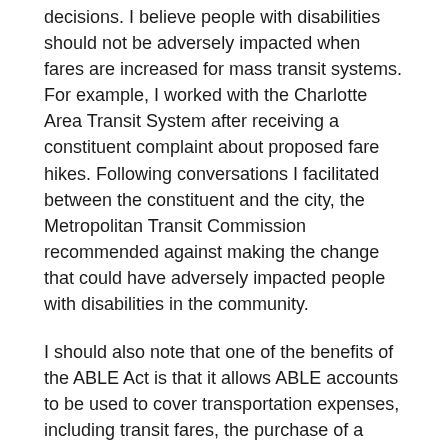decisions. I believe people with disabilities should not be adversely impacted when fares are increased for mass transit systems. For example, I worked with the Charlotte Area Transit System after receiving a constituent complaint about proposed fare hikes. Following conversations I facilitated between the constituent and the city, the Metropolitan Transit Commission recommended against making the change that could have adversely impacted people with disabilities in the community.
I should also note that one of the benefits of the ABLE Act is that it allows ABLE accounts to be used to cover transportation expenses, including transit fares, the purchase of a vehicle, or making modifications to a vehicle."
State Rep. Deborah Ross (NC-D)
“At GoTriangle, we worked to increase public